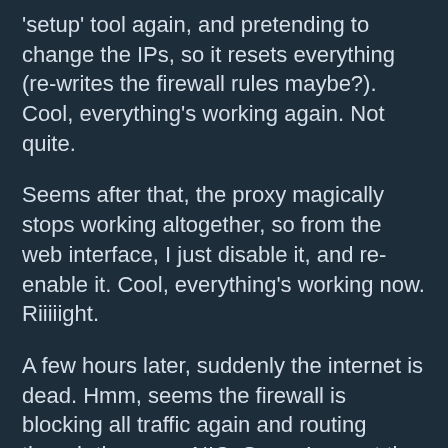'setup' tool again, and pretending to change the IPs, so it resets everything (re-writes the firewall rules maybe?). Cool, everything's working again. Not quite.
Seems after that, the proxy magically stops working altogether, so from the web interface, I just disable it, and re-enable it. Cool, everything's working now. Riiiiight.
A few hours later, suddenly the internet is dead. Hmm, seems the firewall is blocking all traffic again and routing though the same NIC. Sooo, I repeat the whole IP change/reset, proxy reset, etc, and everything's cool.
A few hours later I find myself repeating the whole procedure again.
This is seriously lame, having to practically